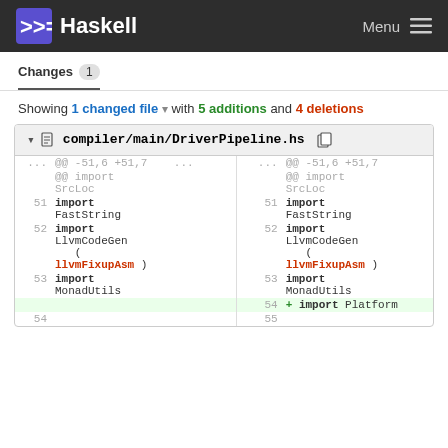Haskell  Menu
Changes 1
Showing 1 changed file with 5 additions and 4 deletions
| old ln | old code | new ln | new code |
| --- | --- | --- | --- |
| ... | @@ -51,6 +51,7 ... | ... | @@ -51,6 +51,7 |
|  | @@ import SrcLoc |  | @@ import SrcLoc |
| 51 | import FastString | 51 | import FastString |
| 52 | import LlvmCodeGen ( llvmFixupAsm ) | 52 | import LlvmCodeGen ( llvmFixupAsm ) |
| 53 | import MonadUtils | 53 | import MonadUtils |
|  |  | 54 | + import Platform |
| 54 |  | 55 |  |